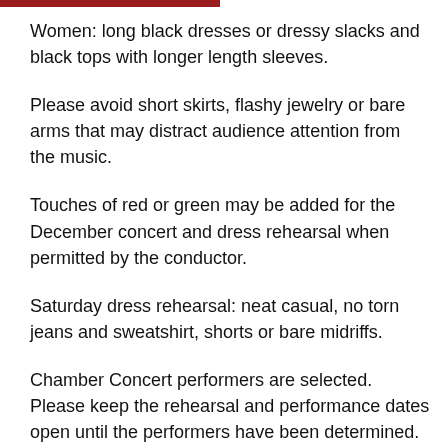Women: long black dresses or dressy slacks and black tops with longer length sleeves.
Please avoid short skirts, flashy jewelry or bare arms that may distract audience attention from the music.
Touches of red or green may be added for the December concert and dress rehearsal when permitted by the conductor.
Saturday dress rehearsal: neat casual, no torn jeans and sweatshirt, shorts or bare midriffs.
Chamber Concert performers are selected. Please keep the rehearsal and performance dates open until the performers have been determined. If you wish to perform with a chamber group, talk with your section